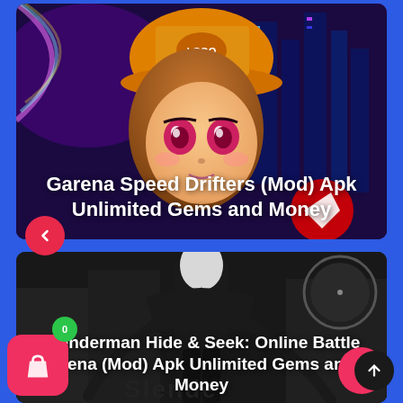[Figure (screenshot): Mobile app screenshot showing two game cards on a blue background. Top card: Garena Speed Drifters with anime character in yellow cap. Bottom card: Slenderman Hide & Seek game. UI elements include back arrow button, shopping cart button with green badge (0), pink circle, and dark up-arrow button.]
Garena Speed Drifters (Mod) Apk Unlimited Gems and Money
Slenderman Hide & Seek: Online Battle Arena (Mod) Apk Unlimited Gems and Money